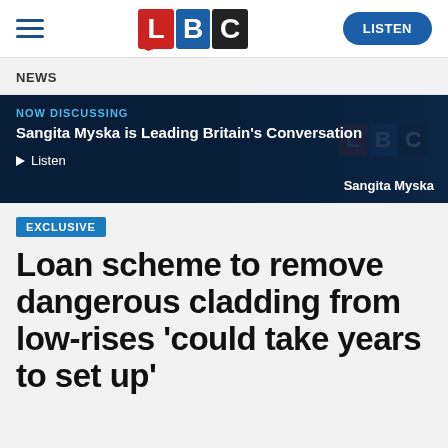[Figure (logo): LBC logo with L in red, B in blue, C in black/dark, with speech bubble shape]
LISTEN
NEWS
NOW DISCUSSING
Sangita Myska is Leading Britain's Conversation
► Listen
Sangita Myska
EXCLUSIVE
Loan scheme to remove dangerous cladding from low-rises 'could take years to set up'